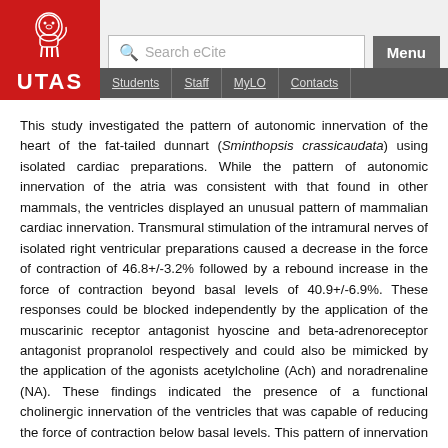UTAS | Search eCite | Menu | Students | Staff | MyLO | Contacts
This study investigated the pattern of autonomic innervation of the heart of the fat-tailed dunnart (Sminthopsis crassicaudata) using isolated cardiac preparations. While the pattern of autonomic innervation of the atria was consistent with that found in other mammals, the ventricles displayed an unusual pattern of mammalian cardiac innervation. Transmural stimulation of the intramural nerves of isolated right ventricular preparations caused a decrease in the force of contraction of 46.8+/-3.2% followed by a rebound increase in the force of contraction beyond basal levels of 40.9+/-6.9%. These responses could be blocked independently by the application of the muscarinic receptor antagonist hyoscine and beta-adrenoreceptor antagonist propranolol respectively and could also be mimicked by the application of the agonists acetylcholine (Ach) and noradrenaline (NA). These findings indicated the presence of a functional cholinergic innervation of the ventricles that was capable of reducing the force of contraction below basal levels. This pattern of innervation has only been found previously in one other mammal, the bent-winged bat (Miniopterus schreibersii). Given that both of these